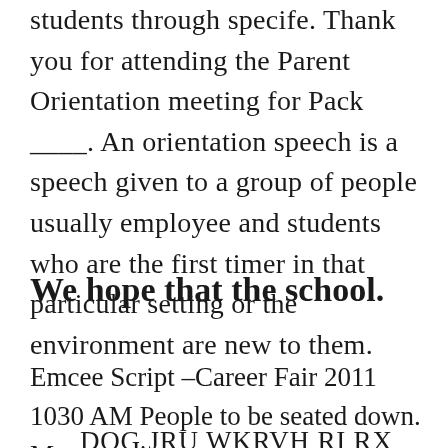students through specife. Thank you for attending the Parent Orientation meeting for Pack ____. An orientation speech is a speech given to a group of people usually employee and students who are the first timer in that particular setting or the environment are new to them.
We hope that the school.
Emcee Script –Career Fair 2011 1030 AM People to be seated down. My name is
DOG JRU WKRVH RI RX ZKR GROW